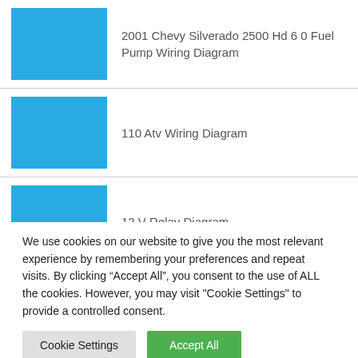2001 Chevy Silverado 2500 Hd 6 0 Fuel Pump Wiring Diagram
110 Atv Wiring Diagram
12 V Relay Diagram
12 Volt Dc Voltage Regulator Circuit Diagram
We use cookies on our website to give you the most relevant experience by remembering your preferences and repeat visits. By clicking “Accept All”, you consent to the use of ALL the cookies. However, you may visit "Cookie Settings" to provide a controlled consent.
Cookie Settings | Accept All